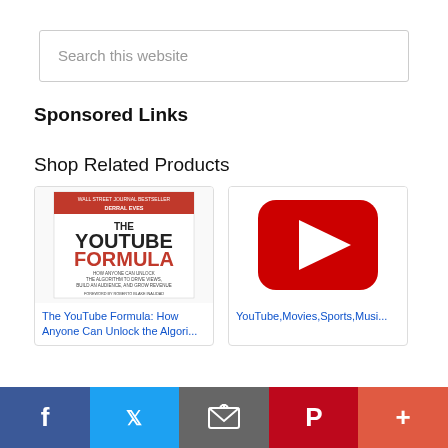Search this website
Sponsored Links
Shop Related Products
[Figure (screenshot): The YouTube Formula book cover - red and white, by Derral Eves]
The YouTube Formula: How Anyone Can Unlock the Algori...
[Figure (screenshot): YouTube red rounded square logo with white play button triangle]
YouTube,Movies,Sports,Musi...
[Figure (infographic): Bottom social sharing bar with Facebook, Twitter, Email, Pinterest, and More buttons]